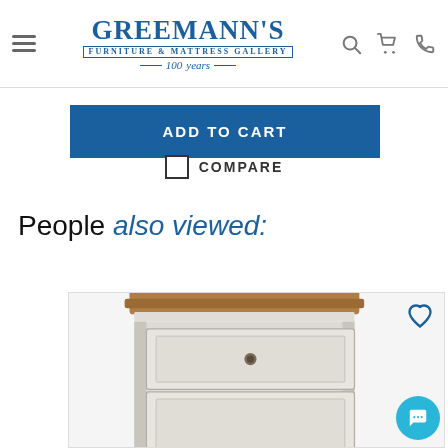[Figure (screenshot): Greemann's Furniture & Mattress Gallery logo with 100 years tagline, navigation icons (search, cart, phone)]
ADD TO CART
COMPARE
People also viewed:
[Figure (photo): Photo of a white/grey nightstand with brown wood top, two drawers, and a round knob handle]